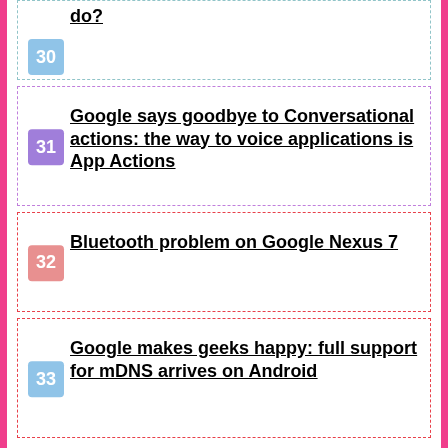30 Google Nexus 7 crashes: what to do?
31 Google says goodbye to Conversational actions: the way to voice applications is App Actions
32 Bluetooth problem on Google Nexus 7
33 Google makes geeks happy: full support for mDNS arrives on Android